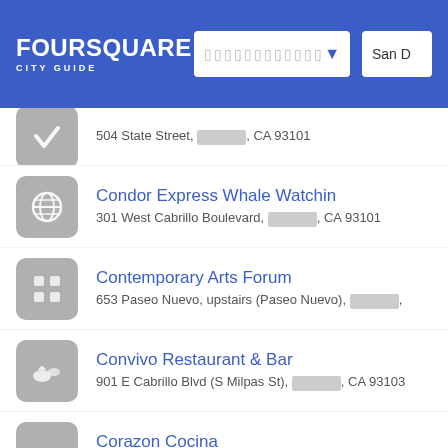Foursquare City Guide
504 State Street, [redacted], CA 93101
Condor Express Whale Watching
301 West Cabrillo Boulevard, [redacted], CA 93101
Contemporary Arts Forum
653 Paseo Nuevo, upstairs (Paseo Nuevo), [redacted]
Convivo Restaurant & Bar
901 E Cabrillo Blvd (S Milpas St), [redacted], CA 93103
Corazon Cocina
38 W Victoria St Apt 122, [redacted], CA 93101
CorePower Yoga
1129 State Street (Figueroa), [redacted], CA 93101